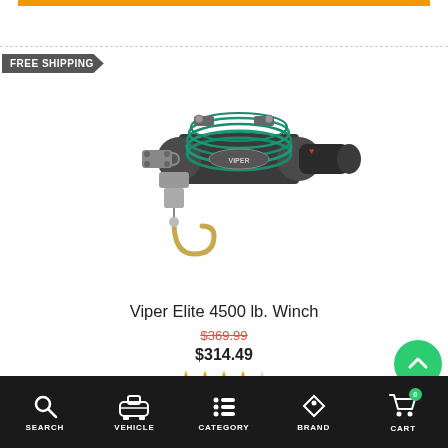[Figure (photo): Viper Elite 4500 lb. winch with green synthetic rope and gold hook, photographed on white background]
Viper Elite 4500 lb. Winch
$369.99 (strikethrough) / $314.49 with 3.5 star rating
More Information
SEARCH | VEHICLE | CATEGORY | BRAND | CART